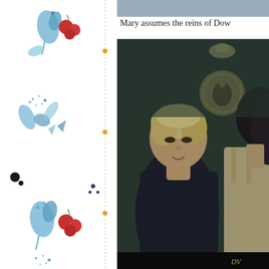[Figure (illustration): Left decorative border panel with blue floral/botanical watercolor illustrations, red berries, black dots, and orange circular accents arranged vertically along the left margin, with a vertical dotted line separating it from the main content]
[Figure (photo): A still from what appears to be a TV show or film showing two women facing each other. One has short blonde hair and is wearing a dark top; the other has short dark hair and is wearing a light-colored sleeveless top. A wall clock and ceiling lamp are visible in the background.]
Mary assumes the reins of Dow